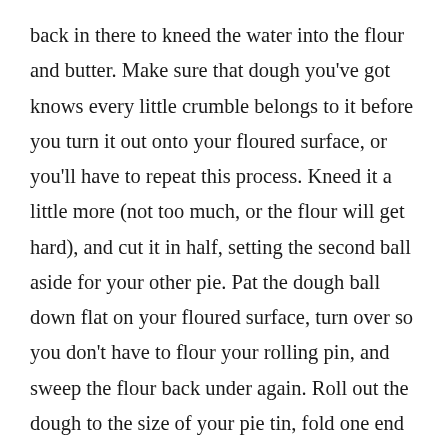back in there to kneed the water into the flour and butter. Make sure that dough you've got knows every little crumble belongs to it before you turn it out onto your floured surface, or you'll have to repeat this process. Kneed it a little more (not too much, or the flour will get hard), and cut it in half, setting the second ball aside for your other pie. Pat the dough ball down flat on your floured surface, turn over so you don't have to flour your rolling pin, and sweep the flour back under again. Roll out the dough to the size of your pie tin, fold one end gently over your rolling pin, then carefully lift it from your surface and line it up over the tin. Push the crust down, cut to size,